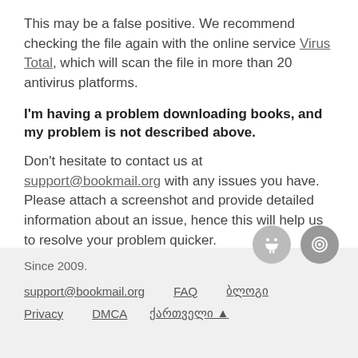This may be a false positive. We recommend checking the file again with the online service Virus Total, which will scan the file in more than 20 antivirus platforms.
I'm having a problem downloading books, and my problem is not described above.
Don't hesitate to contact us at support@bookmail.org with any issues you have. Please attach a screenshot and provide detailed information about an issue, hence this will help us to resolve your problem quicker.
Since 2009. support@bookmail.org FAQ ბლოგი Privacy DMCA ქართველი